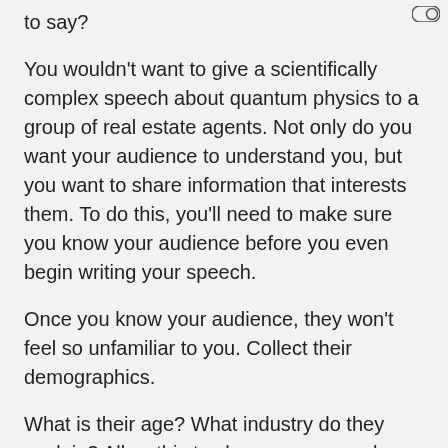to say?
You wouldn't want to give a scientifically complex speech about quantum physics to a group of real estate agents. Not only do you want your audience to understand you, but you want to share information that interests them. To do this, you'll need to make sure you know your audience before you even begin writing your speech.
Once you know your audience, they won't feel so unfamiliar to you. Collect their demographics.
What is their age? What industry do they work in? Allow this to shape your speech.